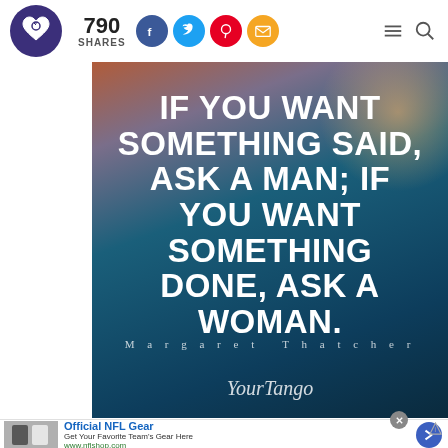790 SHARES
[Figure (photo): Quote image with dark blue-teal gradient background and text: IF YOU WANT SOMETHING SAID, ASK A MAN; IF YOU WANT SOMETHING DONE, ASK A WOMAN. — Margaret Thatcher. YourTango watermark at bottom.]
[Figure (screenshot): Advertisement banner: Official NFL Gear - Get Your Favorite Team's Gear Here - www.nflshop.com, with NFL jerseys image on left and blue arrow button on right.]